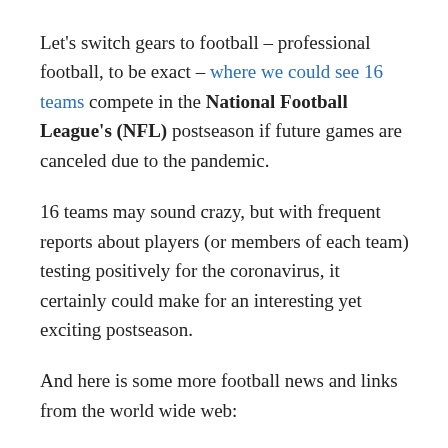Let's switch gears to football – professional football, to be exact – where we could see 16 teams compete in the National Football League's (NFL) postseason if future games are canceled due to the pandemic.
16 teams may sound crazy, but with frequent reports about players (or members of each team) testing positively for the coronavirus, it certainly could make for an interesting yet exciting postseason.
And here is some more football news and links from the world wide web:
Scotty Walden was recently named the head...